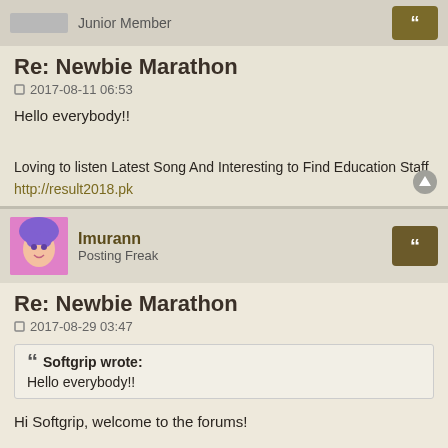Junior Member
Re: Newbie Marathon
2017-08-11 06:53
Hello everybody!!
Loving to listen Latest Song And Interesting to Find Education Staff
http://result2018.pk
Imurann
Posting Freak
Re: Newbie Marathon
2017-08-29 03:47
Softgrip wrote:
Hello everybody!!
Hi Softgrip, welcome to the forums!
Tell us what's your fav Maaya song? first song? anything you like ^__^